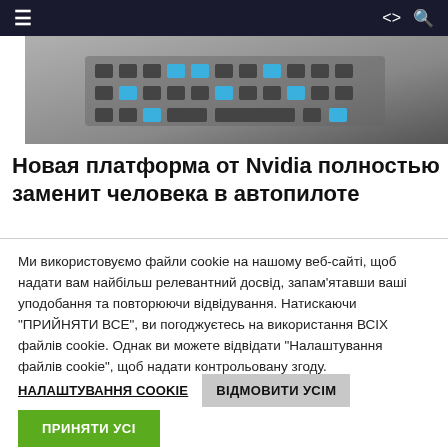≡ (hamburger menu) | share | search icons
[Figure (photo): Close-up of a keyboard with blue-highlighted keys on a dark background]
Новая платформа от Nvidia полностью заменит человека в автопилоте
Ми використовуємо файли cookie на нашому веб-сайті, щоб надати вам найбільш релевантний досвід, запам'ятавши ваші уподобання та повторюючи відвідування. Натискаючи "ПРИЙНЯТИ ВСЕ", ви погоджуєтесь на використання ВСІХ файлів cookie. Однак ви можете відвідати "Налаштування файлів cookie", щоб надати контрольовану згоду.
НАЛАШТУВАННЯ Cookie | ВІДМОВИТИ УСІМ | ПРИНЯТИ УСІ